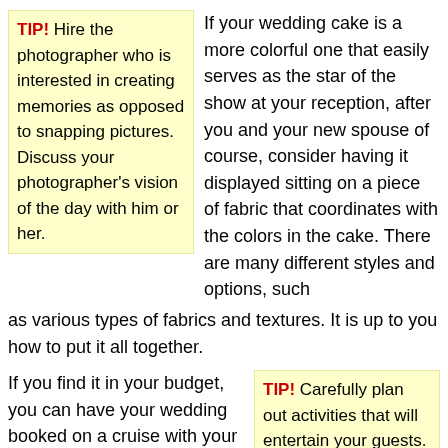TIP! Hire the photographer who is interested in creating memories as opposed to snapping pictures. Discuss your photographer's vision of the day with him or her.
If your wedding cake is a more colorful one that easily serves as the star of the show at your reception, after you and your new spouse of course, consider having it displayed sitting on a piece of fabric that coordinates with the colors in the cake. There are many different styles and options, such as various types of fabrics and textures. It is up to you how to put it all together.
If you find it in your budget, you can have your wedding booked on a cruise with your close friends and family. This way, you can begin your honeymoon right after your ceremony is finished. Some cruise
TIP! Carefully plan out activities that will entertain your guests. Do not let your guests simply wait for the end of the nuptials.